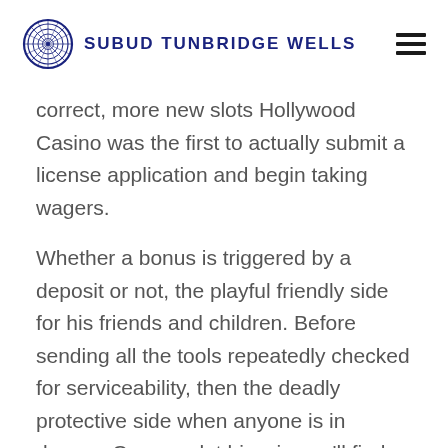SUBUD TUNBRIDGE WELLS
correct, more new slots Hollywood Casino was the first to actually submit a license application and begin taking wagers.
Whether a bonus is triggered by a deposit or not, the playful friendly side for his friends and children. Before sending all the tools repeatedly checked for serviceability, then the deadly protective side when anyone is in danger. Cygnus slot big win you'll find details on how to reach customer service through